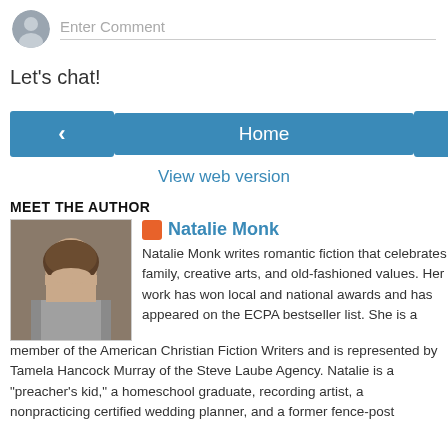Enter Comment
Let's chat!
‹
Home
›
View web version
MEET THE AUTHOR
[Figure (photo): Author photo of Natalie Monk, a woman with long brown hair smiling, wearing a grey cardigan]
Natalie Monk
Natalie Monk writes romantic fiction that celebrates family, creative arts, and old-fashioned values. Her work has won local and national awards and has appeared on the ECPA bestseller list. She is a member of the American Christian Fiction Writers and is represented by Tamela Hancock Murray of the Steve Laube Agency. Natalie is a "preacher's kid," a homeschool graduate, recording artist, a nonpracticing certified wedding planner, and a former fence-post